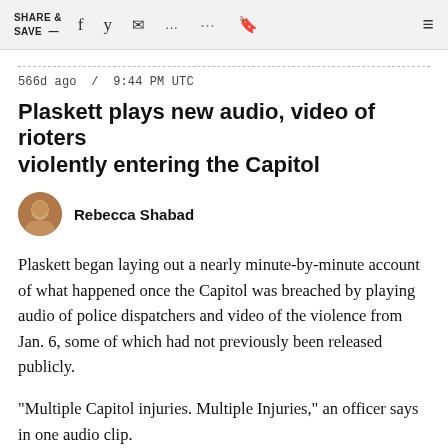SHARE & SAVE —
566d ago / 9:44 PM UTC
Plaskett plays new audio, video of rioters violently entering the Capitol
Rebecca Shabad
Plaskett began laying out a nearly minute-by-minute account of what happened once the Capitol was breached by playing audio of police dispatchers and video of the violence from Jan. 6, some of which had not previously been released publicly.
"Multiple Capitol injuries. Multiple Injuries," an officer says in one audio clip.